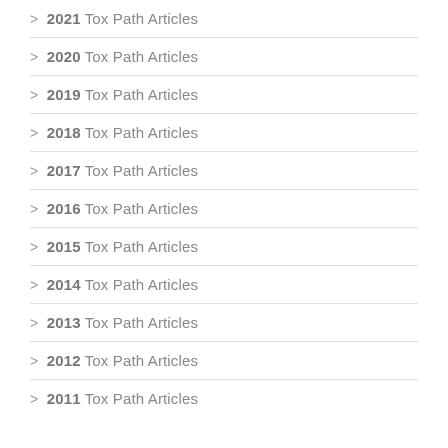> 2021 Tox Path Articles
> 2020 Tox Path Articles
> 2019 Tox Path Articles
> 2018 Tox Path Articles
> 2017 Tox Path Articles
> 2016 Tox Path Articles
> 2015 Tox Path Articles
> 2014 Tox Path Articles
> 2013 Tox Path Articles
> 2012 Tox Path Articles
> 2011 Tox Path Articles